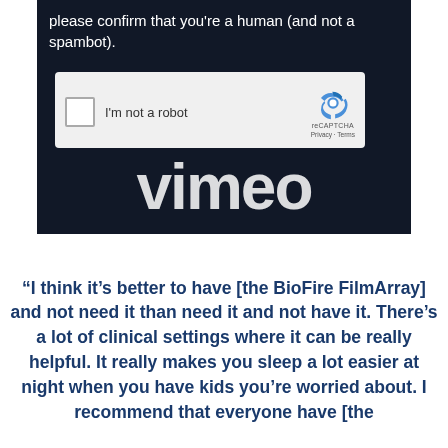[Figure (screenshot): Screenshot of a dark navy background with a reCAPTCHA verification widget showing 'I'm not a robot' checkbox with reCAPTCHA logo, Privacy and Terms links, and partial Vimeo logo text visible behind.]
“I think it’s better to have [the BioFire FilmArray] and not need it than need it and not have it. There’s a lot of clinical settings where it can be really helpful. It really makes you sleep a lot easier at night when you have kids you’re worried about. I recommend that everyone have [the